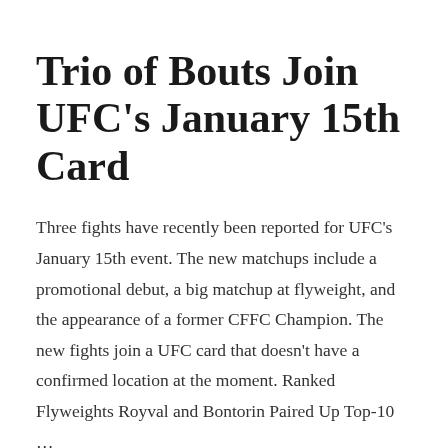Trio of Bouts Join UFC's January 15th Card
Three fights have recently been reported for UFC's January 15th event. The new matchups include a promotional debut, a big matchup at flyweight, and the appearance of a former CFFC Champion. The new fights join a UFC card that doesn't have a confirmed location at the moment. Ranked Flyweights Royval and Bontorin Paired Up Top-10 …
Continue reading